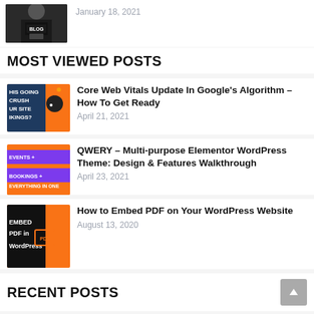[Figure (photo): Person wearing a black BLOG t-shirt, shown from shoulders up]
January 18, 2021
MOST VIEWED POSTS
[Figure (photo): Orange and dark thumbnail showing text: HIS GOING CRUSH UR SITE IKINGS? with bomb emoji]
Core Web Vitals Update In Google's Algorithm – How To Get Ready
April 21, 2021
[Figure (photo): Orange and purple thumbnail showing text: EVENTS + BOOKINGS + EVERYTHING IN ONE]
QWERY – Multi-purpose Elementor WordPress Theme: Design & Features Walkthrough
April 23, 2021
[Figure (photo): Orange thumbnail showing text: EMBED PDF in WordPress with PDF icon]
How to Embed PDF on Your WordPress Website
August 13, 2020
RECENT POSTS